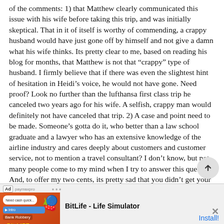of the comments: 1) that Matthew clearly communicated this issue with his wife before taking this trip, and was initially skeptical. That in it of itself is worthy of commending, a crappy husband would have just gone off by himself and not give a damn what his wife thinks. Its pretty clear to me, based on reading his blog for months, that Matthew is not that “crappy” type of husband. I firmly believe that if there was even the slightest hint of hesitation in Heidi’s voice, he would not have gone. Need proof? Look no further than the lufthansa first class trip he canceled two years ago for his wife. A selfish, crappy man would definitely not have canceled that trip. 2) A case and point need to be made. Someone’s gotta do it, who better than a law school graduate and a lawyer who has an extensive knowledge of the airline industry and cares deeply about customers and customer service, not to mention a travel consultant? I don’t know, but not many people come to my mind when I try to answer this question. And, to offer my two cents, its pretty sad that you didn’t get your way. It shows you how unethical people can be sometimes. I don’t think a lawsuit is appropriate as this probably won’t win, but that does not mean that the actions of Ethiopian Airlines are ethical in the least. My advice would be to boycott Ethiopian Airlines and talk to your congressman about making
[Figure (other): BitLife - Life Simulator advertisement banner with orange background, emoji characters, and Install button]